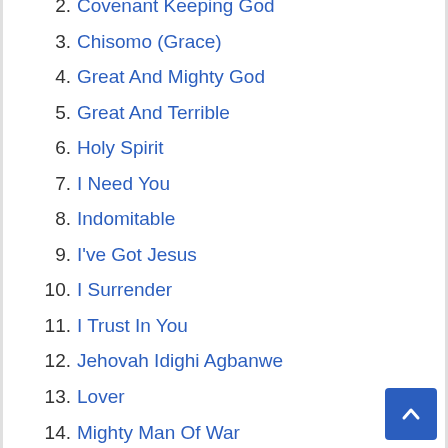2. Covenant Keeping God
3. Chisomo (Grace)
4. Great And Mighty God
5. Great And Terrible
6. Holy Spirit
7. I Need You
8. Indomitable
9. I've Got Jesus
10. I Surrender
11. I Trust In You
12. Jehovah Idighi Agbanwe
13. Lover
14. Mighty Man Of War
15. More Than
16. My Father My God
17. Name Above All Names
18. Only You